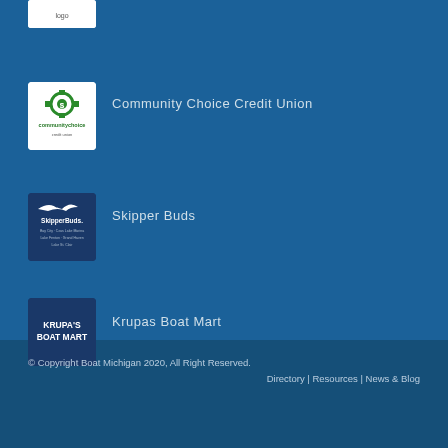[Figure (logo): Partial logo at top, truncated]
[Figure (logo): Community Choice Credit Union logo - white background with green gear/dollar icon and text 'communitychoice']
Community Choice Credit Union
[Figure (logo): SkipperBuds logo - dark blue background with white bird and company name text listing multiple Michigan marina locations]
Skipper Buds
[Figure (logo): Krupa's Boat Mart logo - dark blue background with white text 'KRUPA'S BOAT MART']
Krupas Boat Mart
© Copyright Boat Michigan 2020, All Right Reserved.
Directory | Resources | News & Blog